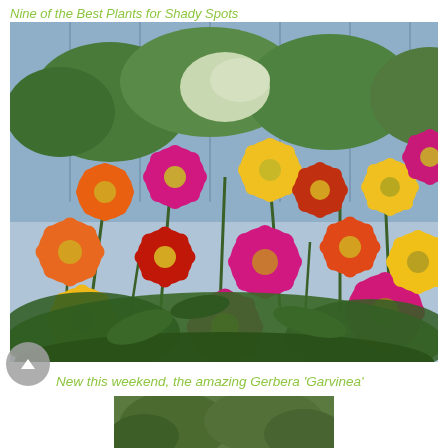Nine of the Best Plants for Shady Spots
[Figure (photo): Colorful gerbera daisies in mixed colors including yellow, orange, red, and pink/magenta, growing in a garden bed against a blue-grey fence with green foliage background.]
New this weekend, the amazing Gerbera 'Garvinea'
[Figure (photo): Partial view of another plant photo at the bottom of the page.]